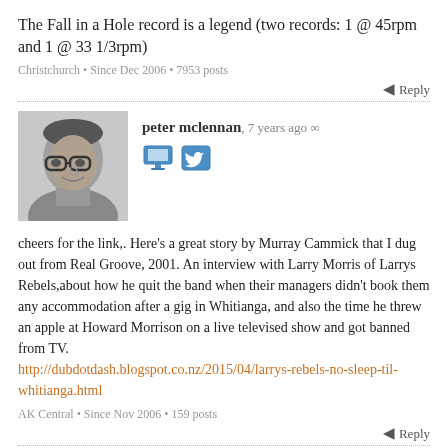The Fall in a Hole record is a legend (two records: 1 @ 45rpm and 1 @ 33 1/3rpm)
Christchurch • Since Dec 2006 • 7953 posts
Reply
peter mclennan, 7 years ago
[Figure (photo): Black and white photo of a man with glasses]
cheers for the link,. Here's a great story by Murray Cammick that I dug out from Real Groove, 2001. An interview with Larry Morris of Larrys Rebels,about how he quit the band when their managers didn't book them any accommodation after a gig in Whitianga, and also the time he threw an apple at Howard Morrison on a live televised show and got banned from TV.
http://dubdotdash.blogspot.co.nz/2015/04/larrys-rebels-no-sleep-til-whitianga.html
AK Central • Since Nov 2006 • 159 posts
Reply